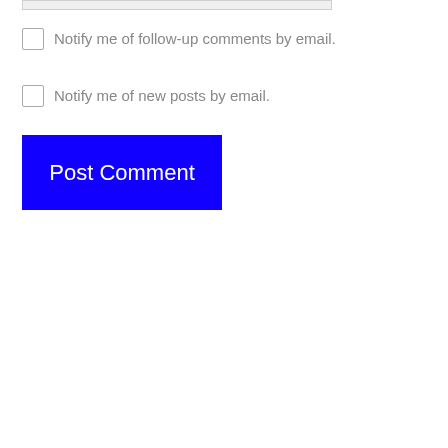[Figure (screenshot): A partial input field visible at the top of the page, light gray background with border]
Notify me of follow-up comments by email.
Notify me of new posts by email.
Post Comment